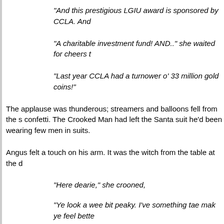“And this prestigious LGIU award is sponsored by CCLA.  And
“A charitable investment fund!   AND..” she waited for cheers t
“Last year CCLA had a turnower o’ 33 million gold coins!”
The applause was thunderous; streamers and balloons fell from the s confetti.  The Crooked Man had left the Santa suit he’d been wearing few men in suits.
Angus felt a touch on his arm.  It was the witch from the table at the d
“Here dearie,” she crooned,
“Ye look a wee bit peaky.  I’ve something tae mak ye feel bette
“Is it a magic potion?” Angus asked.
“Well, dearie in a wye it is” and she pressed a small but thick b